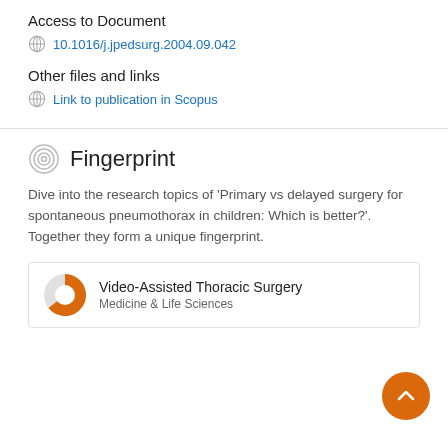Access to Document
10.1016/j.jpedsurg.2004.09.042
Other files and links
Link to publication in Scopus
Fingerprint
Dive into the research topics of 'Primary vs delayed surgery for spontaneous pneumothorax in children: Which is better?'. Together they form a unique fingerprint.
Video-Assisted Thoracic Surgery
Medicine & Life Sciences